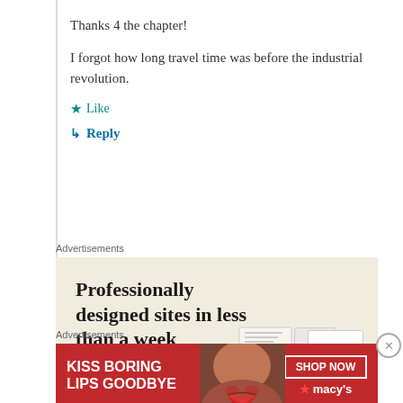Thanks 4 the chapter!
I forgot how long travel time was before the industrial revolution.
★ Like
↳ Reply
Advertisements
[Figure (infographic): Advertisement for website builder: 'Professionally designed sites in less than a week' on beige background with green underline and card mockup showing letter A]
Advertisements
[Figure (infographic): Macy's advertisement on red background: 'KISS BORING LIPS GOODBYE' with woman's face and red lips, SHOP NOW button and Macy's star logo]